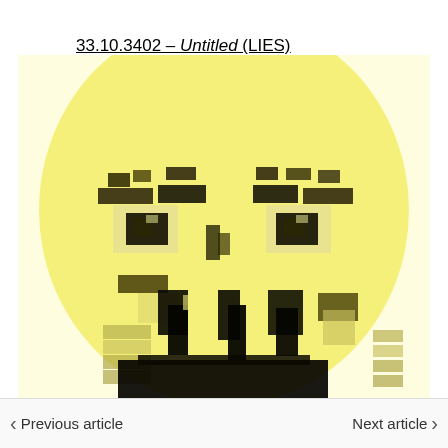33.10.3402 – Untitled (LIES)
[Figure (illustration): A pixelated, low-resolution emoji-like face with a yellow circular head, dark eyes, and a distorted expression rendered in a blocky pixel art style against a bright yellow background.]
< Previous article    Next article >